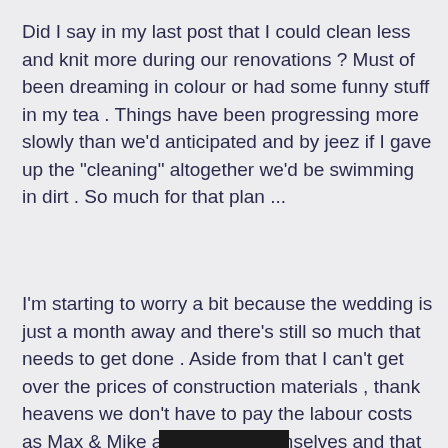Did I say in my last post that I could clean less and knit more during our renovations ? Must of been dreaming in colour or had some funny stuff in my tea . Things have been progressing more slowly than we'd anticipated and by jeez if I gave up the "cleaning" altogether we'd be swimming in dirt . So much for that plan ...
I'm starting to worry a bit because the wedding is just a month away and there's still so much that needs to get done . Aside from that I can't get over the prices of construction materials , thank heavens we don't have to pay the labour costs as Max & Mike are doing it themselves and that we can claim some of the costs in the federal government home reno tax credit . Counting our blessings on that front .